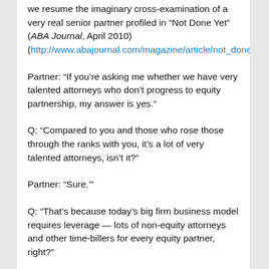we resume the imaginary cross-examination of a very real senior partner profiled in “Not Done Yet” (ABA Journal, April 2010) (http://www.abajournal.com/magazine/article/not_done_yet)
Partner: “If you’re asking me whether we have very talented attorneys who don’t progress to equity partnership, my answer is yes.”
Q: “Compared to you and those who rose those through the ranks with you, it’s a lot of very talented attorneys, isn’t it?”
Partner: “Sure.’”
Q: “That’s because today’s big firm business model requires leverage — lots of non-equity attorneys and other time-billers for every equity partner, right?”
Partner: “Look, big law firms have become businesses. I didn’t make it that way and I can’t ignore the marketplace. If we don’t maintain high equity partner profits through